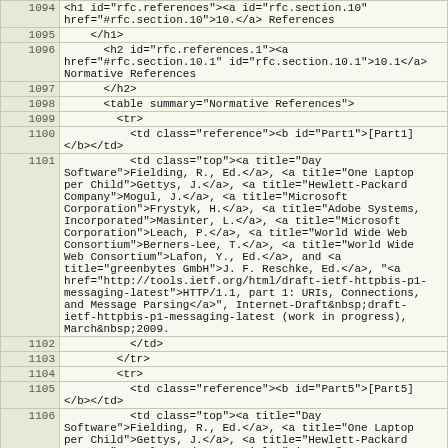| line | code |
| --- | --- |
| 1094 | <h1 id="rfc.references"><a id="rfc.section.10"
href="#rfc.section.10">10.</a> References |
| 1095 |     </h1> |
| 1096 |       <h2 id="rfc.references.1"><a
href="#rfc.section.10.1" id="rfc.section.10.1">10.1</a>
Normative References |
| 1097 |       </h2> |
| 1098 |       <table summary="Normative References"> |
| 1099 |         <tr> |
| 1100 |           <td class="reference"><b id="Part1">[Part1]
</b></td> |
| 1101 |           <td class="top"><a title="Day
Software">Fielding, R., Ed.</a>, <a title="One Laptop
per Child">Gettys, J.</a>, <a title="Hewlett-Packard
Company">Mogul, J.</a>, <a title="Microsoft
Corporation">Frystyk, H.</a>, <a title="Adobe Systems,
Incorporated">Masinter, L.</a>, <a title="Microsoft
Corporation">Leach, P.</a>, <a title="World Wide Web
Consortium">Berners-Lee, T.</a>, <a title="World Wide
Web Consortium">Lafon, Y., Ed.</a>, and <a
title="greenbytes GmbH">J. F. Reschke, Ed.</a>, "<a
href="http://tools.ietf.org/html/draft-ietf-httpbis-p1-
messaging-latest">HTTP/1.1, part 1: URIs, Connections,
and Message Parsing</a>", Internet-Draft&nbsp;draft-
ietf-httpbis-p1-messaging-latest (work in progress),
March&nbsp;2009. |
| 1102 |           </td> |
| 1103 |         </tr> |
| 1104 |         <tr> |
| 1105 |           <td class="reference"><b id="Part5">[Part5]
</b></td> |
| 1106 |           <td class="top"><a title="Day
Software">Fielding, R., Ed.</a>, <a title="One Laptop
per Child">Gettys, J.</a>, <a title="Hewlett-Packard
Company">Mogul, J.</a>, <a title="Microsoft |